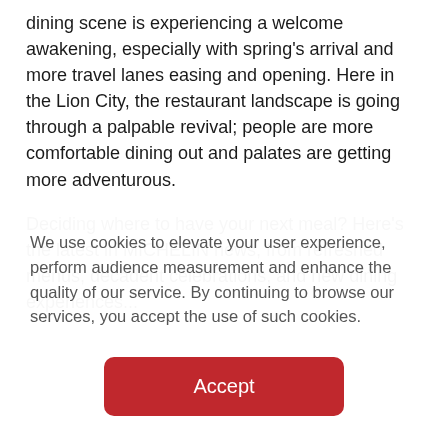dining scene is experiencing a welcome awakening, especially with spring's arrival and more travel lanes easing and opening. Here in the Lion City, the restaurant landscape is going through a palpable revival; people are more comfortable dining out and palates are getting more adventurous.
Deciding where to have your next meal? Here's the latest in MICHELIN news, from refreshed menus, decadent celebrations, and new dining experiences...
We use cookies to elevate your user experience, perform audience measurement and enhance the quality of our service. By continuing to browse our services, you accept the use of such cookies.
Accept